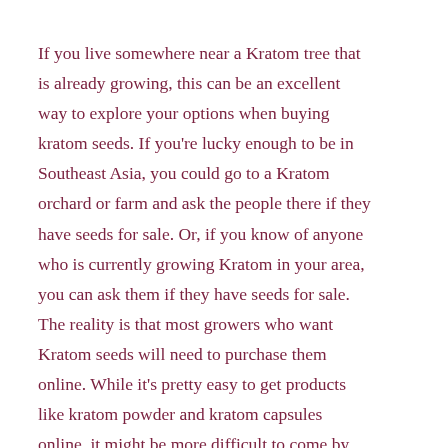If you live somewhere near a Kratom tree that is already growing, this can be an excellent way to explore your options when buying kratom seeds. If you're lucky enough to be in Southeast Asia, you could go to a Kratom orchard or farm and ask the people there if they have seeds for sale. Or, if you know of anyone who is currently growing Kratom in your area, you can ask them if they have seeds for sale.
The reality is that most growers who want Kratom seeds will need to purchase them online. While it's pretty easy to get products like kratom powder and kratom capsules online, it might be more difficult to come by fresh kratom seeds.
As mentioned earlier, there are also some issues with shipped seeds remaining fertile, so any online order may automatically have a low germination rate, and may result in the possibility of seeds that will not grow into live kratom plants. That's a risk with